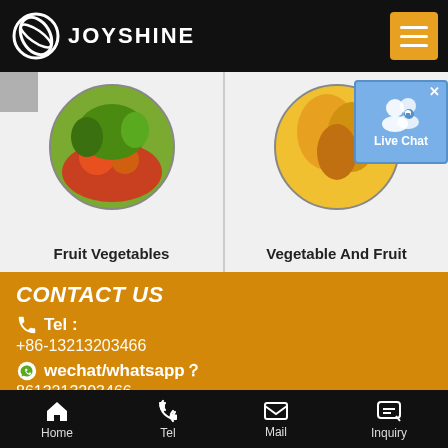JOYSHINE
[Figure (photo): Fruit Vegetables product card with circular image of mixed fruits and vegetables in a basket]
Fruit Vegetables
[Figure (photo): Vegetable And Fruit product card with circular image of mango/tropical fruits]
Vegetable And Fruit
[Figure (other): Live Chat popup button with user icon and chat label]
CONTACT US
Tel :
+86-13213203466
wechat/whatsapp？
8613213203466
E-mail :
Home  Tel  Mail  Inquiry